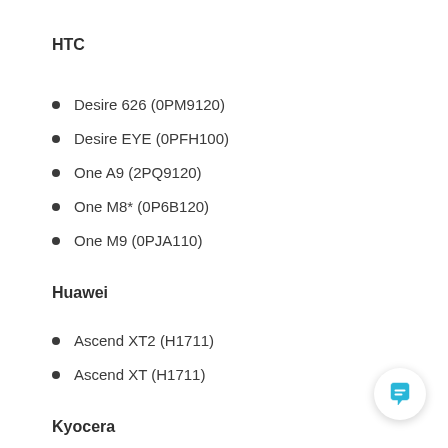HTC
Desire 626 (0PM9120)
Desire EYE (0PFH100)
One A9 (2PQ9120)
One M8* (0P6B120)
One M9 (0PJA110)
Huawei
Ascend XT2 (H1711)
Ascend XT (H1711)
Kyocera